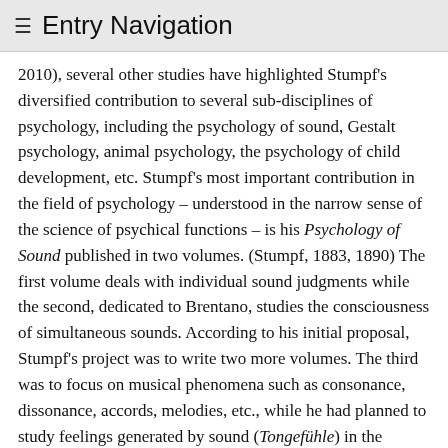≡ Entry Navigation
2010), several other studies have highlighted Stumpf's diversified contribution to several sub-disciplines of psychology, including the psychology of sound, Gestalt psychology, animal psychology, the psychology of child development, etc. Stumpf's most important contribution in the field of psychology – understood in the narrow sense of the science of psychical functions – is his Psychology of Sound published in two volumes. (Stumpf, 1883, 1890) The first volume deals with individual sound judgments while the second, dedicated to Brentano, studies the consciousness of simultaneous sounds. According to his initial proposal, Stumpf's project was to write two more volumes. The third was to focus on musical phenomena such as consonance, dissonance, accords, melodies, etc., while he had planned to study feelings generated by sound (Tongefühle) in the fourth. Part of his research on these issues was published separately in his Beiträge zur Akustik und Musikwissenschaft (9 volumes).